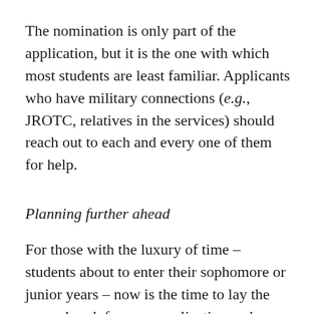The nomination is only part of the application, but it is the one with which most students are least familiar. Applicants who have military connections (e.g., JROTC, relatives in the services) should reach out to each and every one of them for help.
Planning further ahead
For those with the luxury of time – students about to enter their sophomore or junior years – now is the time to lay the groundwork for your application and